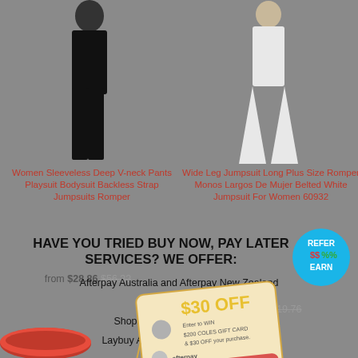[Figure (photo): Woman wearing black sleeveless deep V-neck jumpsuit/bodysuit, top portion of body visible]
[Figure (photo): Woman wearing white wide-leg jumpsuit/romper, full body visible on grey background]
Women Sleeveless Deep V-neck Pants Playsuit Bodysuit Backless Strap Jumpsuits Romper
Wide Leg Jumpsuit Long Plus Size Romper Monos Largos De Mujer Belted White Jumpsuit For Women 60932
from $28.86 $56.32
$65.87 $119.76
[Figure (infographic): Coupon/price tag overlay showing '$30 OFF', Enter to WIN, $200 COLES GIFT CARD & $30 OFF your purchase, with Afterpay logo, NO I'M PAYING FULL PRICE button, and YES I LOVE SAVINGS button]
HAVE YOU TRIED BUY NOW, PAY LATER SERVICES? WE OFFER:
Afterpay Australia and Afterpay New Zealand
Zippay Shopping
Shophumm (formerly Oxipay)
Laybuy Australia and New Zealand
[Figure (infographic): Round blue badge: REFER $$%% EARN]
[Figure (photo): Red cylindrical/rolled product at bottom left, partially cut off]